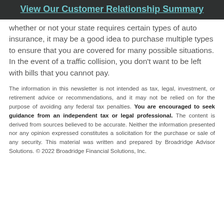View Our Customer Relationship Summary
whether or not your state requires certain types of auto insurance, it may be a good idea to purchase multiple types to ensure that you are covered for many possible situations. In the event of a traffic collision, you don't want to be left with bills that you cannot pay.
The information in this newsletter is not intended as tax, legal, investment, or retirement advice or recommendations, and it may not be relied on for the purpose of avoiding any federal tax penalties. You are encouraged to seek guidance from an independent tax or legal professional. The content is derived from sources believed to be accurate. Neither the information presented nor any opinion expressed constitutes a solicitation for the purchase or sale of any security. This material was written and prepared by Broadridge Advisor Solutions. © 2022 Broadridge Financial Solutions, Inc.